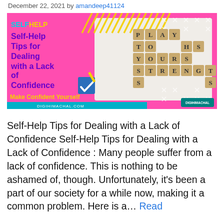December 22, 2021 by amandeep41124
[Figure (illustration): Promotional blog post image with pink background on left showing 'SELF HELP' text in cyan/yellow, bold title 'Self-Help Tips for Dealing with a Lack of Confidence' in purple, yellow text 'Make Confident Yourself', blue checkmark icon, website URL digihimachal.com, and on right a photo of Scrabble tiles spelling PLAY TO YOUR STRENGTHS on a white surface, with teal DigiHimachal logo in bottom right.]
Self-Help Tips for Dealing with a Lack of Confidence Self-Help Tips for Dealing with a Lack of Confidence : Many people suffer from a lack of confidence. This is nothing to be ashamed of, though. Unfortunately, it's been a part of our society for a while now, making it a common problem. Here is a… Read